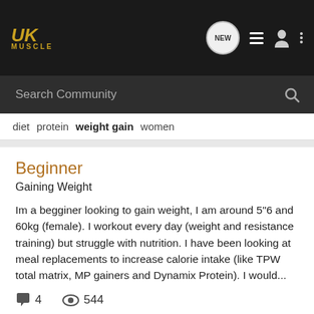[Figure (screenshot): UKMuscle website header with logo, navigation icons, and search bar]
diet  protein  weight gain  women
Beginner
Gaining Weight
Im a begginer looking to gain weight, I am around 5"6 and 60kg (female). I workout every day (weight and resistance training) but struggle with nutrition. I have been looking at meal replacements to increase calorie intake (like TPW total matrix, MP gainers and Dynamix Protein). I would...
4  544
Edp11 · May 10, 2018
calories  female  gain  mass gain  muscle gain  nutrition  supplements  training  weight gain